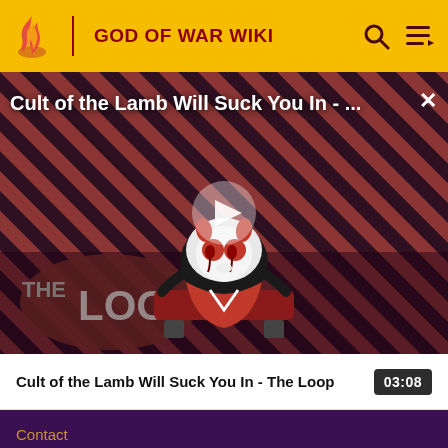GOD OF WAR WIKI
[Figure (screenshot): Video thumbnail for 'Cult of the Lamb Will Suck You In - The Loop' showing an animated lamb character with red eyes on a red-and-black diagonal striped background, with THE LOOP branding and a play button overlay]
Cult of the Lamb Will Suck You In - The Loop
03:08
Contact